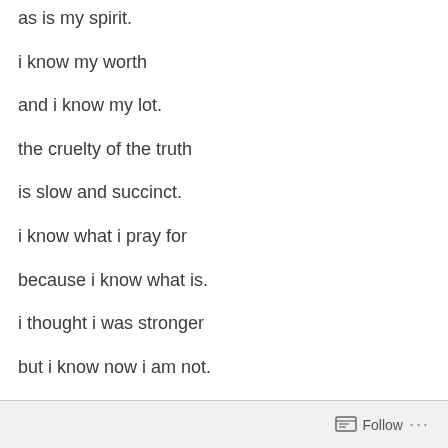as is my spirit.
i know my worth
and i know my lot.
the cruelty of the truth
is slow and succinct.
i know what i pray for
because i know what is.
i thought i was stronger
but i know now i am not.
i thought i could move on,
Follow